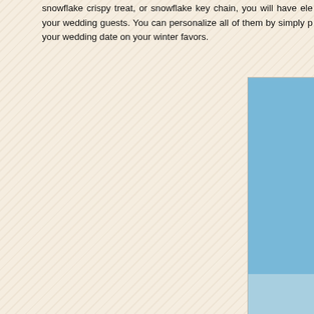snowflake crispy treat, or snowflake key chain, you will have ele your wedding guests. You can personalize all of them by simply p your wedding date on your winter favors.
[Figure (photo): Snowflake-shaped winter wedding favors displayed on a snowy surface with a blue sky background. The snowflakes are silver/crystal and some have personalized name tags (Kimberly Table 2, Shirley Table 2, Jennifer Table 2). One central larger snowflake has a photo of a couple.]
Snowflake winter wedding favors (source: http://www.weddingstyle.ca/ )
Snowman
Everyone loves a snowman as it is a true symbol of winter's d delightful and elegant wedding favor to your guest by choosing one